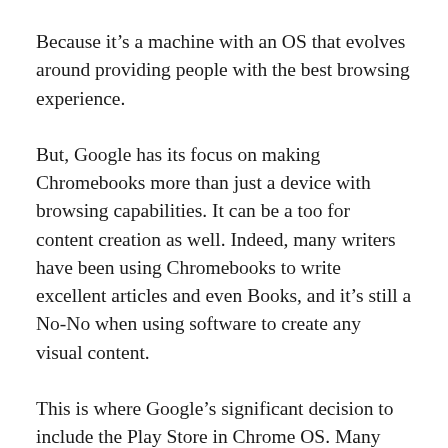Because it's a machine with an OS that evolves around providing people with the best browsing experience.
But, Google has its focus on making Chromebooks more than just a device with browsing capabilities. It can be a too for content creation as well. Indeed, many writers have been using Chromebooks to write excellent articles and even Books, and it's still a No-No when using software to create any visual content.
This is where Google's significant decision to include the Play Store in Chrome OS. Many new laptops can run Android Apps. It may not be a